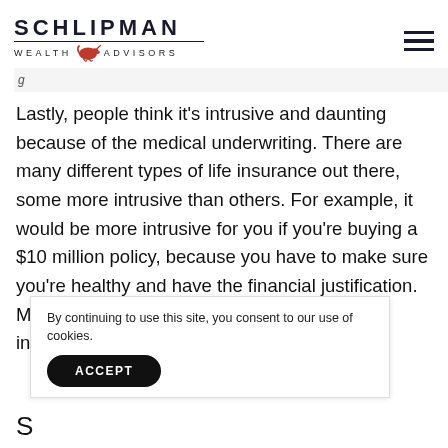SCHLIPMAN WEALTH ADVISORS
Lastly, people think it's intrusive and daunting because of the medical underwriting. There are many different types of life insurance out there, some more intrusive than others. For example, it would be more intrusive for you if you're buying a $10 million policy, because you have to make sure you're healthy and have the financial justification. Most Americans don't need $10 million of life insurance, but a $1 million policy can be a
By continuing to use this site, you consent to our use of cookies.
S